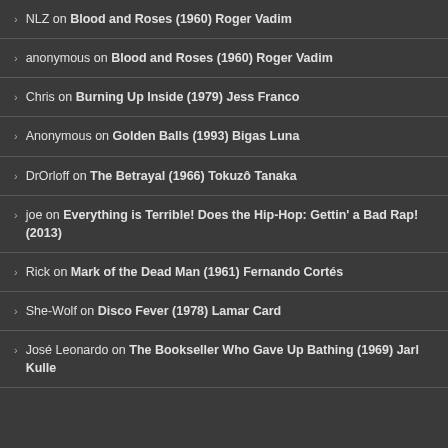NLZ on Blood and Roses (1960) Roger Vadim
anonymous on Blood and Roses (1960) Roger Vadim
Chris on Burning Up Inside (1979) Jess Franco
Anonymous on Golden Balls (1993) Bigas Luna
DrOrloff on The Betrayal (1966) Tokuzô Tanaka
joe on Everything is Terrible! Does the Hip-Hop: Gettin' a Bad Rap! (2013)
Rick on Mark of the Dead Man (1961) Fernando Cortés
She-Wolf on Disco Fever (1978) Lamar Card
José Leonardo on The Bookseller Who Gave Up Bathing (1969) Jarl Kulle